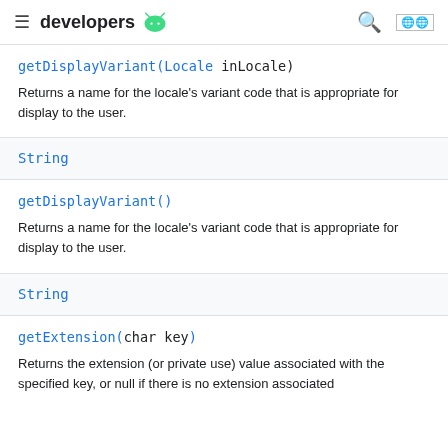developers
getDisplayVariant(Locale inLocale)
Returns a name for the locale's variant code that is appropriate for display to the user.
| String |
| --- |
getDisplayVariant()
Returns a name for the locale's variant code that is appropriate for display to the user.
| String |
| --- |
getExtension(char key)
Returns the extension (or private use) value associated with the specified key, or null if there is no extension associated